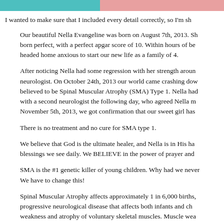[Figure (photo): Partial banner image strip — left portion teal/blue-green color, right portion pinkish/skin tone, cropped at top of page]
I wanted to make sure that I included every detail correctly, so I'm sh
Our beautiful Nella Evangeline was born on August 7th, 2013. She was born perfect, with a perfect apgar score of 10. Within hours of being born, we headed home anxious to start our new life as a family of 4.
After noticing Nella had some regression with her strength around... neurologist. On October 24th, 2013 our world came crashing down... believed to be Spinal Muscular Atrophy (SMA) Type 1. Nella had... with a second neurologist the following day, who agreed Nella me... November 5th, 2013, we got confirmation that our sweet girl has...
There is no treatment and no cure for SMA type 1.
We believe that God is the ultimate healer, and Nella is in His ha... blessings we see daily. We BELIEVE in the power of prayer and...
SMA is the #1 genetic killer of young children. Why had we never... We have to change this!
Spinal Muscular Atrophy affects approximately 1 in 6,000 births,... progressive neurological disease that affects both infants and ch... weakness and atrophy of voluntary skeletal muscles. Muscle wea... (called the motor neurons) that connect brain to muscle. Simply p... which eventually affects every muscle in the body hindering the a... breathe.
SMA is caused by mutations in the survival motor neuron gene (S... mutations result in a reduction in the amount of protein called SM...